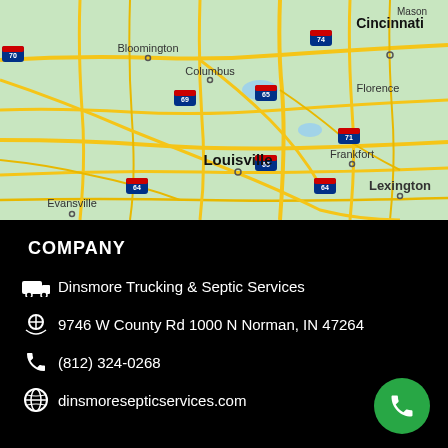[Figure (map): Road map showing the Louisville, Kentucky area including cities: Cincinnati, Bloomington, Columbus, Evansville, Frankfort, Lexington, Florence, Mason. Shows interstate highways 70, 64, 65, 69, 71, 74.]
COMPANY
Dinsmore Trucking & Septic Services
9746 W County Rd 1000 N Norman, IN 47264
(812) 324-0268
dinsmoresepticservices.com